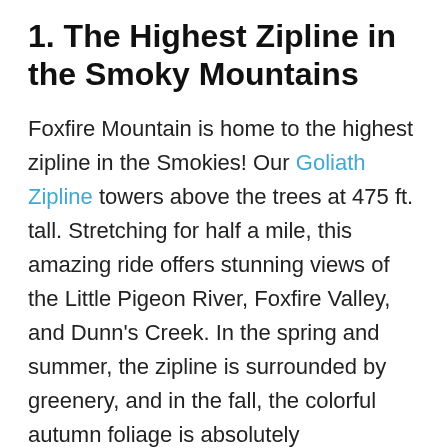1. The Highest Zipline in the Smoky Mountains
Foxfire Mountain is home to the highest zipline in the Smokies! Our Goliath Zipline towers above the trees at 475 ft. tall. Stretching for half a mile, this amazing ride offers stunning views of the Little Pigeon River, Foxfire Valley, and Dunn's Creek. In the spring and summer, the zipline is surrounded by greenery, and in the fall, the colorful autumn foliage is absolutely breathtaking. The 2-hour Goliath tour includes five exciting ziplines.